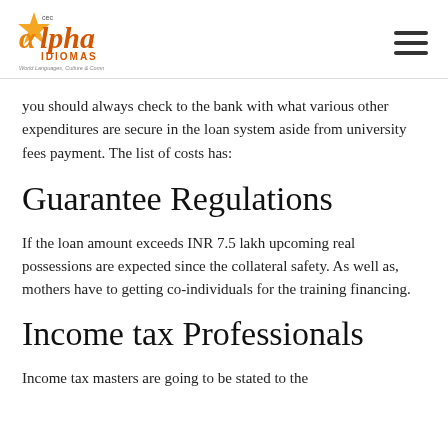Alpha Idiomas CEC — World Languages, Culture & Communication
you should always check to the bank with what various other expenditures are secure in the loan system aside from university fees payment. The list of costs has:
Guarantee Regulations
If the loan amount exceeds INR 7.5 lakh upcoming real possessions are expected since the collateral safety. As well as, mothers have to getting co-individuals for the training financing.
Income tax Professionals
Income tax masters are going to be stated to the